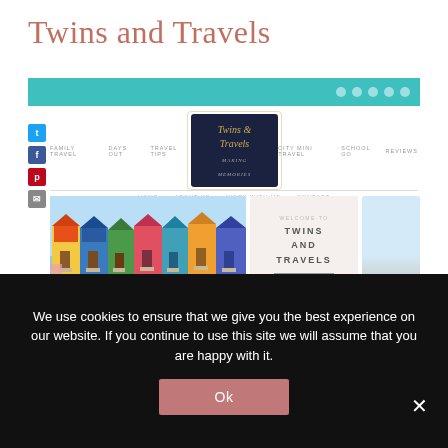Twins and Travels
[Figure (screenshot): Screenshot of the Twins and Travels travel blog website showing a teal navigation bar, social media sidebar icons (Twitter, Facebook, Pinterest, Email), a logo for Twins & Travels in dark navy, navigation menu items (FAMILY TRAVEL, DAYS OUT, TRAVEL TIPS, CITY MINI GUIDE, SCHOOL GO, REVIEWS, HOME, ABOUT US, WORK WITH ME, CONTACT), a main hero area featuring colorful beach huts photo, a welcome section with text TWINS AND TRAVELS and a LEARN MORE button, and a landscape/sky photograph.]
Image: Twins and Travels
We use cookies to ensure that we give you the best experience on our website. If you continue to use this site we will assume that you are happy with it.